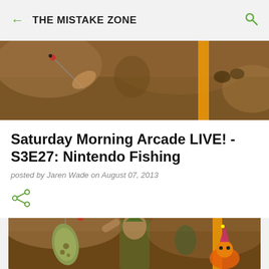THE MISTAKE ZONE
[Figure (photo): A screenshot from a Nintendo Zelda game showing Link fishing, with a brown rocky background and an orange vertical pole]
Saturday Morning Arcade LIVE! - S3E27: Nintendo Fishing
posted by Jaren Wade on August 07, 2013
[Figure (illustration): Share icon (green overlapping circles with lines)]
[Figure (photo): A screenshot from a Nintendo Zelda game showing Link holding a large decorated fish, with a party hat orange character visible on the right side]